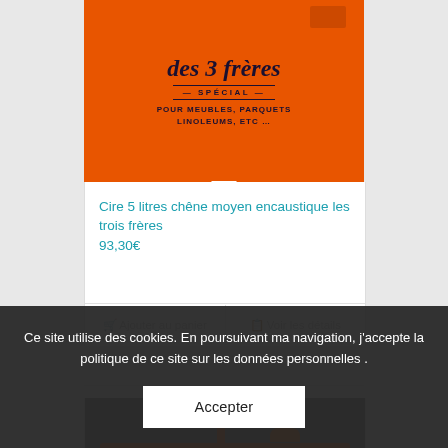[Figure (photo): Orange tin can of 'des 3 frères' wax product, labelled SPÉCIAL POUR MEUBLES, PARQUETS, LINOLEUMS, ETC...]
Cire 5 litres chêne moyen encaustique les trois frères
93,30€
🛒 Ajouter au panier
📋 Voir les détails
[Figure (photo): Orange flat tin can, second product, partially visible]
Ce site utilise des cookies. En poursuivant ma navigation, j'accepte la politique de ce site sur les données personnelles .
Accepter